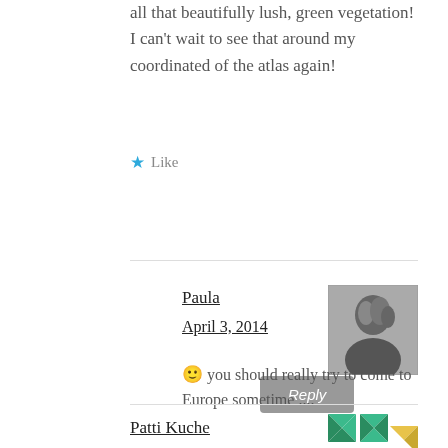all that beautifully lush, green vegetation! I can't wait to see that around my coordinated of the atlas again!
★ Like
Reply
Paula
April 3, 2014
🙂 you should really try to come to Europe sometime ....
★ Like
Reply
Patti Kuche